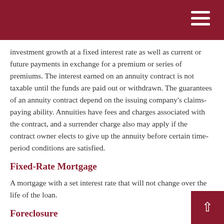investment growth at a fixed interest rate as well as current or future payments in exchange for a premium or series of premiums. The interest earned on an annuity contract is not taxable until the funds are paid out or withdrawn. The guarantees of an annuity contract depend on the issuing company's claims-paying ability. Annuities have fees and charges associated with the contract, and a surrender charge also may apply if the contract owner elects to give up the annuity before certain time-period conditions are satisfied.
Fixed-Rate Mortgage
A mortgage with a set interest rate that will not change over the life of the loan.
Foreclosure